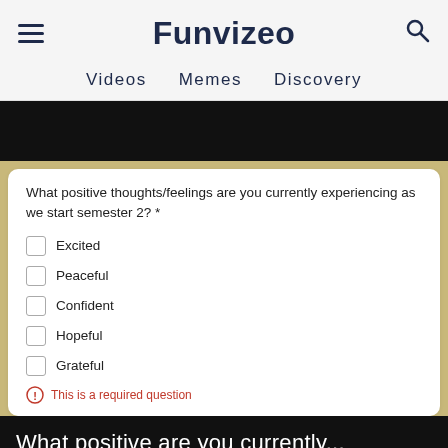Funvizeo
Videos   Memes   Discovery
What positive thoughts/feelings are you currently experiencing as we start semester 2? *
Excited
Peaceful
Confident
Hopeful
Grateful
This is a required question
What positive are you currently...
Read More